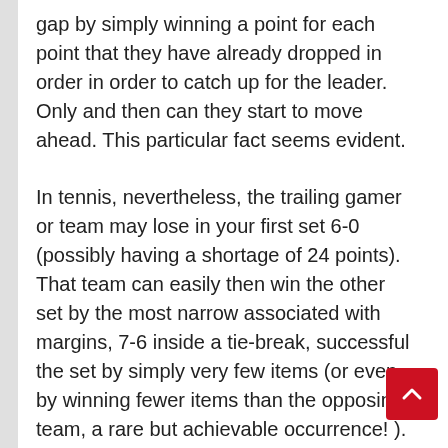gap by simply winning a point for each point that they have already dropped in order in order to catch up for the leader. Only and then can they start to move ahead. This particular fact seems evident.
In tennis, nevertheless, the trailing gamer or team may lose in your first set 6-0 (possibly having a shortage of 24 points). That team can easily then win the other set by the most narrow associated with margins, 7-6 inside a tie-break, successful the set by simply very few items (or even by winning fewer items than the opposing team, a rare but achievable occurrence! ).
Since soon as the particular trailing player or